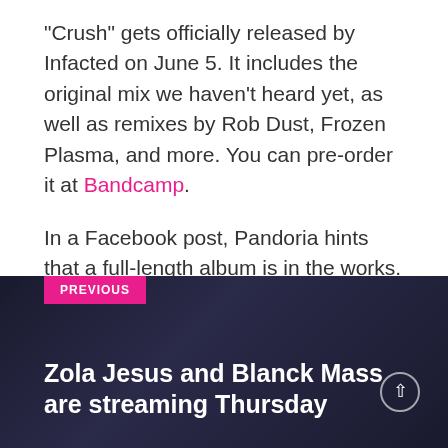“Crush” gets officially released by Infacted on June 5. It includes the original mix we haven’t heard yet, as well as remixes by Rob Dust, Frozen Plasma, and more. You can pre-order it at Bandcamp.
In a Facebook post, Pandoria hints that a full-length album is in the works.
Pandoria
[Figure (other): Navigation block with dark background image showing a figure, pink PREVIOUS badge, and title 'Zola Jesus and Blanck Mass are streaming Thursday' with upward arrow button]